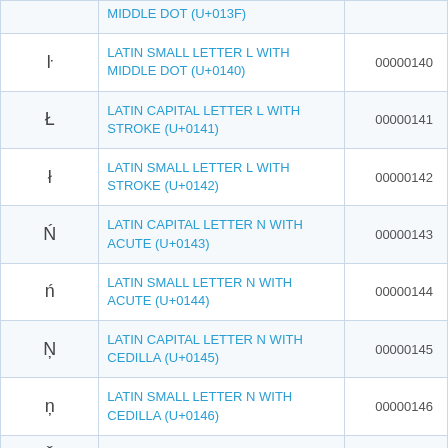| Character | Name | Code |
| --- | --- | --- |
|  | MIDDLE DOT (U+013F) |  |
| ŀ | LATIN SMALL LETTER L WITH MIDDLE DOT (U+0140) | 00000140 |
| Ł | LATIN CAPITAL LETTER L WITH STROKE (U+0141) | 00000141 |
| ł | LATIN SMALL LETTER L WITH STROKE (U+0142) | 00000142 |
| Ń | LATIN CAPITAL LETTER N WITH ACUTE (U+0143) | 00000143 |
| ń | LATIN SMALL LETTER N WITH ACUTE (U+0144) | 00000144 |
| Ņ | LATIN CAPITAL LETTER N WITH CEDILLA (U+0145) | 00000145 |
| ņ | LATIN SMALL LETTER N WITH CEDILLA (U+0146) | 00000146 |
| Ň | LATIN CAPITAL LETTER N WITH | 00000147 |